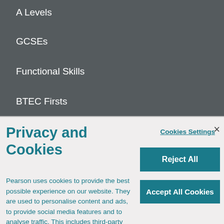A Levels
GCSEs
Functional Skills
BTEC Firsts
Privacy and Cookies
Cookies Settings
×
Reject All
Accept All Cookies
Pearson uses cookies to provide the best possible experience on our website. They are used to personalise content and ads, to provide social media features and to analyse traffic. This includes third-party cookies. By clicking 'Accept Cookies' you agree to our use of cookies. For more information, to manage or disable cookies,